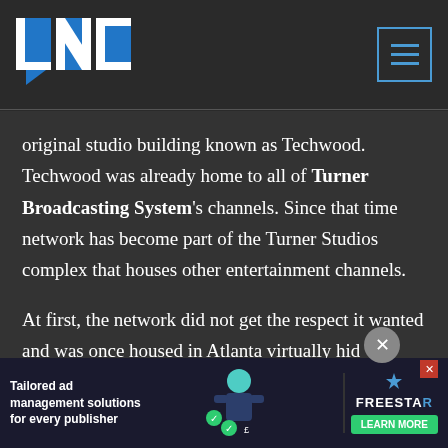[Figure (logo): LNC logo with blue block letters L, N, C with a chat bubble arrow underneath, on dark background]
original studio building known as Techwood. Techwood was already home to all of Turner Broadcasting System's channels. Since that time network has become part of the Turner Studios complex that houses other entertainment channels.

At first, the network did not get the respect it wanted and was once housed in Atlanta virtually hid... ...id that ...e a
[Figure (infographic): Advertisement banner: 'Tailored ad management solutions for every publisher' with a character illustration and FREESTAR logo with LEARN MORE button]